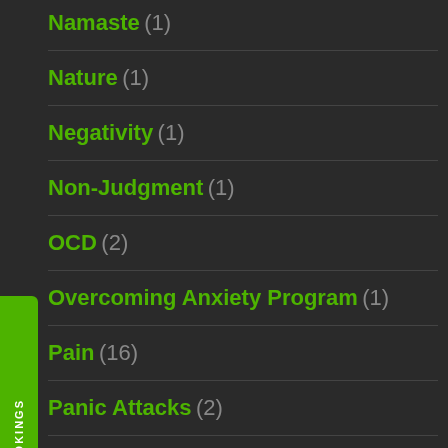Namaste (1)
Nature (1)
Negativity (1)
Non-Judgment (1)
OCD (2)
Overcoming Anxiety Program (1)
Pain (16)
Panic Attacks (2)
Past (1)
Past Life (6)
Past Lives (1)